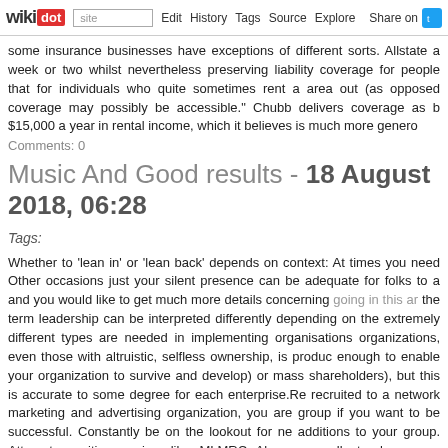wikidot | site | Edit | History | Tags | Source | Explore | Share on [Twitter]
some insurance businesses have exceptions of different sorts. Allstate a week or two whilst nevertheless preserving liability coverage for people that for individuals who quite sometimes rent a area out (as opposed coverage may possibly be accessible." Chubb delivers coverage as b $15,000 a year in rental income, which it believes is much more genero
Comments: 0
Music And Good results - 18 August 2018, 06:28
Tags:
Whether to 'lean in' or 'lean back' depends on context: At times you need Other occasions just your silent presence can be adequate for folks to a and you would like to get much more details concerning going in this ar the term leadership can be interpreted differently depending on the extremely different types are needed in implementing organisations organizations, even those with altruistic, selfless ownership, is produc enough to enable your organization to survive and develop) or mass shareholders), but this is accurate to some degree for each enterprise.Re recruited to a network marketing and advertising organization, you are group if you want to be successful. Constantly be on the lookout for ne additions to your group. Attempt recruiting services like: MLMRC. Also, ye excellent salesperson, and a team player committed to cooperating with structure, diverse workforce and a range of skilled, responsible partners c make it immune to experiencing a assortment of difficulties. Entreprene strategy how to deal with them. This can let companies to tackle troub minimising the adverse consequences that these problems could result ir effectively, they can make a group far more productive and instil fa